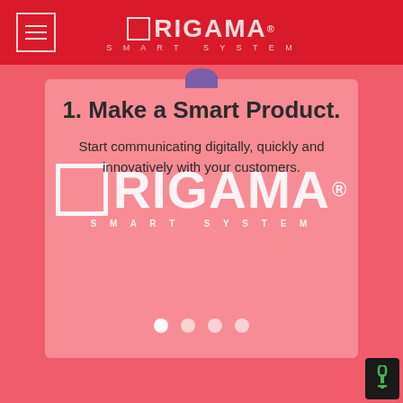ORIGAMA SMART SYSTEM
[Figure (screenshot): Origama Smart System website screenshot showing a red navigation bar with hamburger menu icon and Origama logo at top, a slide card with the heading '1. Make a Smart Product.' and subtitle 'Start communicating digitally, quickly and innovatively with your customers.' with a large white Origama watermark logo overlaid, four pagination dots at the bottom of the card, all on a salmon/coral red background.]
1. Make a Smart Product.
Start communicating digitally, quickly and innovatively with your customers.